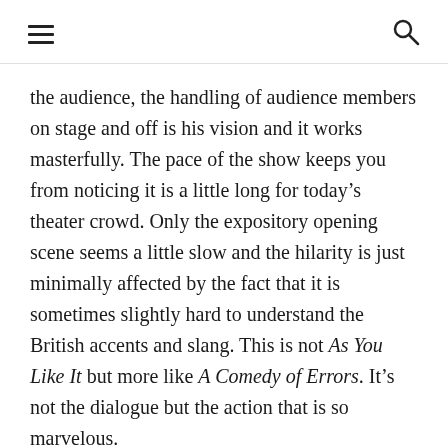≡  🔍
the audience, the handling of audience members on stage and off is his vision and it works masterfully. The pace of the show keeps you from noticing it is a little long for today's theater crowd. Only the expository opening scene seems a little slow and the hilarity is just minimally affected by the fact that it is sometimes slightly hard to understand the British accents and slang. This is not As You Like It but more like A Comedy of Errors. It's not the dialogue but the action that is so marvelous.
Also, thumbs up go to Steve Deming for a great lighting and projection design, Maria Littlefield for Set